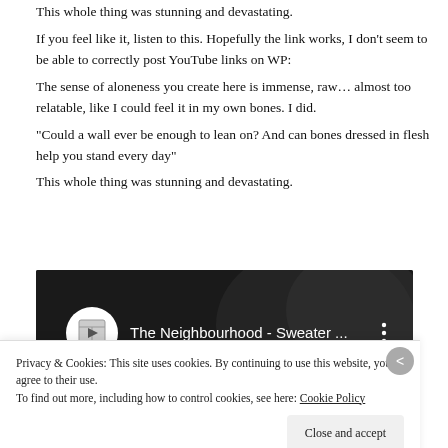This whole thing was stunning and devastating.
If you feel like it, listen to this. Hopefully the link works, I don't seem to be able to correctly post YouTube links on WP:
The sense of aloneness you create here is immense, raw… almost too relatable, like I could feel it in my own bones. I did.
“Could a wall ever be enough to lean on? And can bones dressed in flesh help you stand every day”
This whole thing was stunning and devastating.
[Figure (screenshot): YouTube video thumbnail for 'The Neighbourhood - Sweater ...' showing dark/black and white background with channel logo circle on left and three-dot menu on right]
Privacy & Cookies: This site uses cookies. By continuing to use this website, you agree to their use.
To find out more, including how to control cookies, see here: Cookie Policy
Close and accept